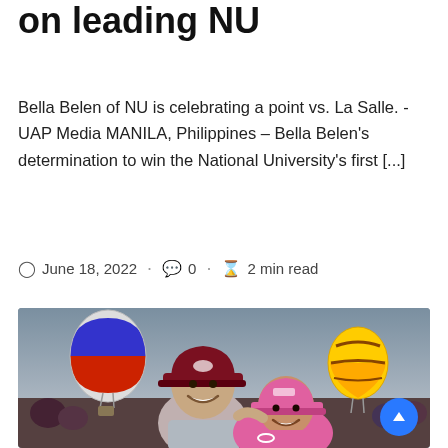on leading NU
Bella Belen of NU is celebrating a point vs. La Salle. -UAP Media MANILA, Philippines – Bella Belen's determination to win the National University's first [...]
June 18, 2022 · 0 · 2 min read
[Figure (photo): Two smiling people in baseball caps hugging outdoors with hot air balloons in the background. One person wears a red/maroon cap and grey shirt; the other wears a pink cap and pink outfit.]